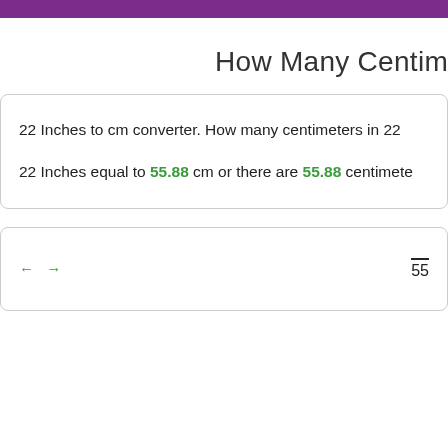How Many Centim
22 Inches to cm converter. How many centimeters in 22
22 Inches equal to 55.88 cm or there are 55.88 centimete
← → 55